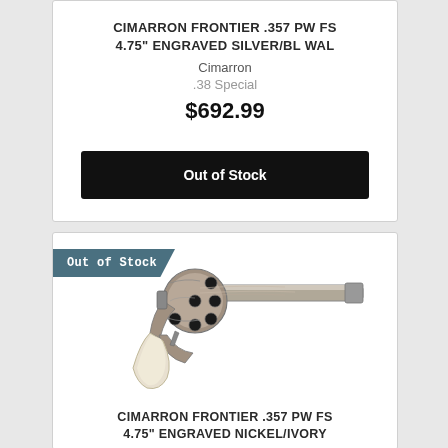CIMARRON FRONTIER .357 PW FS 4.75" ENGRAVED SILVER/BL WAL
Cimarron
.38 Special
$692.99
Out of Stock
[Figure (photo): Photograph of an engraved silver revolver with white/ivory grip (Cimarron Frontier) pointing right, shown against a white background with an 'Out of Stock' badge overlay.]
CIMARRON FRONTIER .357 PW FS 4.75" ENGRAVED NICKEL/IVORY